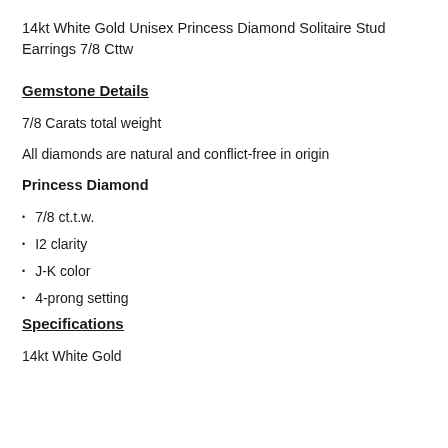14kt White Gold Unisex Princess Diamond Solitaire Stud Earrings 7/8 Cttw
Gemstone Details
7/8 Carats total weight
All diamonds are natural and conflict-free in origin
Princess Diamond
7/8 ct.t.w.
I2 clarity
J-K color
4-prong setting
Specifications
14kt White Gold